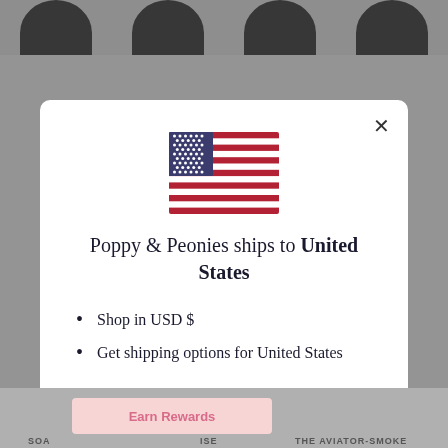[Figure (screenshot): Background page showing product images at top and bottom with gray overlay]
[Figure (illustration): US flag SVG illustration centered in modal]
Poppy & Peonies ships to United States
Shop in USD $
Get shipping options for United States
Shop now
Change shipping country
Earn Rewards
SOA... ISE THE AVIATOR-SMOKE